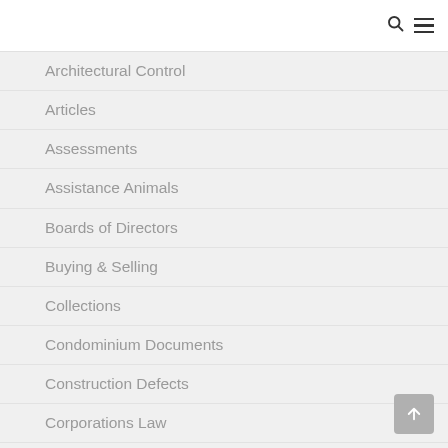Architectural Control
Articles
Assessments
Assistance Animals
Boards of Directors
Buying & Selling
Collections
Condominium Documents
Construction Defects
Corporations Law
Development
Documents & Records
Electricity & Utilities